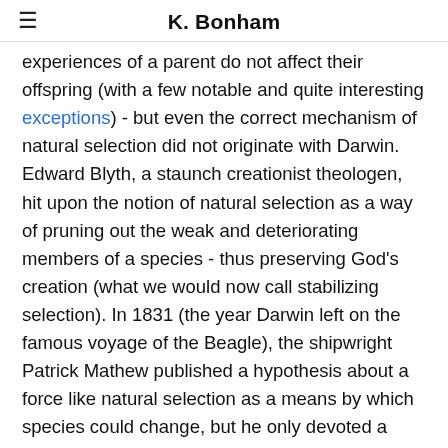K. Bonham
experiences of a parent do not affect their offspring (with a few notable and quite interesting exceptions) - but even the correct mechanism of natural selection did not originate with Darwin. Edward Blyth, a staunch creationist theologen, hit upon the notion of natural selection as a way of pruning out the weak and deteriorating members of a species - thus preserving God's creation (what we would now call stabilizing selection). In 1831 (the year Darwin left on the famous voyage of the Beagle), the shipwright Patrick Mathew published a hypothesis about a force like natural selection as a means by which species could change, but he only devoted a couple of paragraphs to the idea and buried it in an appendix on a book about growing the best trees for ship-building lumber.
Darwins principal contribution, and the reason his name